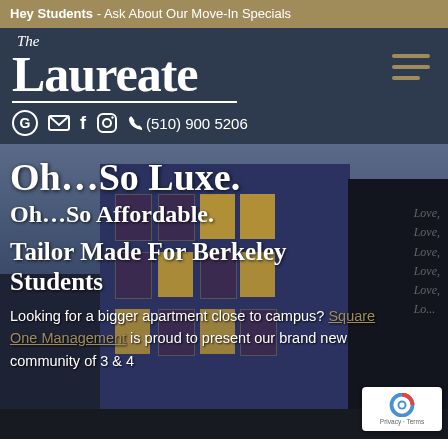Hey Students - Ask About Our Move-In Specials
The Laureate
(510) 900 5206
[Figure (photo): Exterior photo of The Laureate apartment building, a modern dark blue/navy multi-story brick building with illuminated windows, photographed at dusk/evening. Text on the side of a dark pillar reads 'Love, Love, Love, Love, Love'.]
Oh…So Luxe.
Oh…So Affordable.
Tailor Made For Berkeley Students
Looking for a bigger apartment close to campus? Square One Management is proud to present our brand new community of 3 & 4